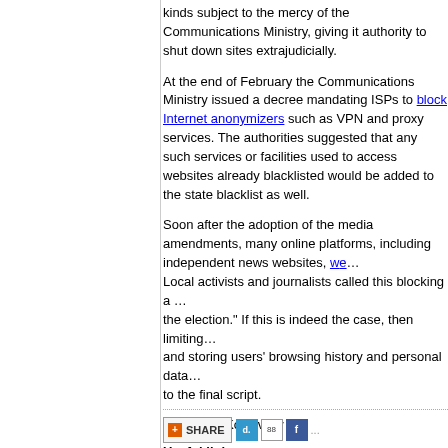kinds subject to the mercy of the Communications Ministry, giving it authority to shut down sites extrajudicially.
At the end of February the Communications Ministry issued a decree mandating ISPs to block Internet anonymizers such as VPN and proxy services. The authorities suggested that any such services or facilities used to access websites already blacklisted would be added to the state blacklist as well.
Soon after the adoption of the media amendments, many online platforms, including independent news websites, we... Local activists and journalists called this blocking a ... the election." If this is indeed the case, then limiting... and storing users' browsing history and personal da... to the final script.
by Sergey Kozlovsky
Useful links:
https://globalvoicesonline.org/2015/03/26/belarus-d...surveillance/